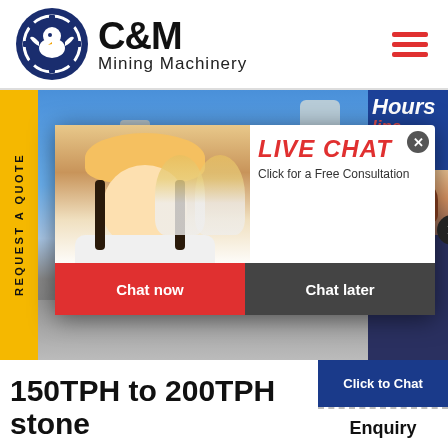[Figure (logo): C&M Mining Machinery logo: circular dark blue emblem with eagle, text 'C&M' in large bold black font and 'Mining Machinery' below]
[Figure (photo): Hero banner showing industrial mining equipment facility with blue sky background; workers in yellow hard hats visible in popup; hamburger menu icon in orange/red top right]
[Figure (screenshot): Live chat popup overlay with woman in hard hat on left, bold red text 'LIVE CHAT', subtitle 'Click for a Free Consultation', red 'Chat now' button and dark 'Chat later' button]
[Figure (photo): Customer service representative with headset on right side panel, with '24 Hours Online' text in white and red italic]
150TPH to 200TPH stone
Click to Chat
Enquiry
REQUEST A QUOTE